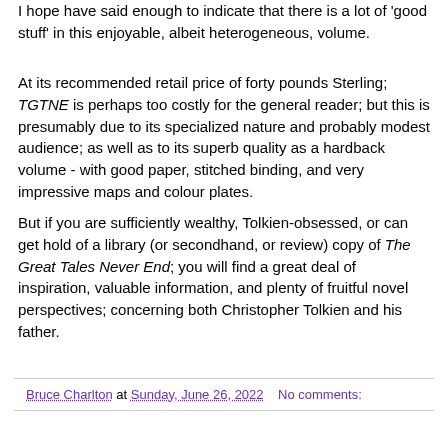I hope have said enough to indicate that there is a lot of 'good stuff' in this enjoyable, albeit heterogeneous, volume.
At its recommended retail price of forty pounds Sterling; TGTNE is perhaps too costly for the general reader; but this is presumably due to its specialized nature and probably modest audience; as well as to its superb quality as a hardback volume - with good paper, stitched binding, and very impressive maps and colour plates.
But if you are sufficiently wealthy, Tolkien-obsessed, or can get hold of a library (or secondhand, or review) copy of The Great Tales Never End; you will find a great deal of inspiration, valuable information, and plenty of fruitful novel perspectives; concerning both Christopher Tolkien and his father.
Bruce Charlton at Sunday, June 26, 2022   No comments: